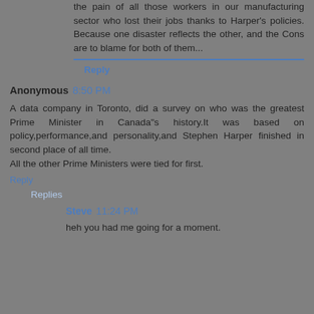the pain of all those workers in our manufacturing sector who lost their jobs thanks to Harper's policies. Because one disaster reflects the other, and the Cons are to blame for both of them...
Reply
Anonymous 8:50 PM
A data company in Toronto, did a survey on who was the greatest Prime Minister in Canada"s history.It was based on policy,performance,and personality,and Stephen Harper finished in second place of all time.
All the other Prime Ministers were tied for first.
Reply
Replies
Steve 11:24 PM
heh you had me going for a moment.